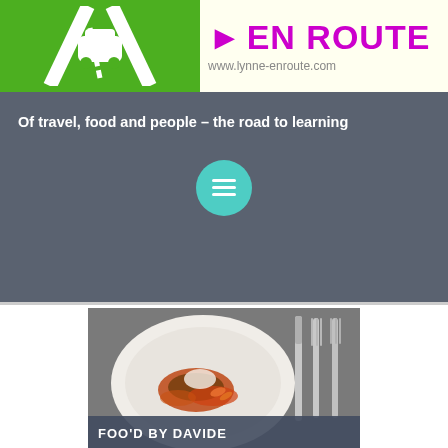[Figure (logo): En Route blog header with green road/car logo on the left and 'EN ROUTE' text with arrow and website URL on the right]
Of travel, food and people – the road to learning
[Figure (illustration): Teal circular menu/hamburger button icon]
[Figure (photo): Food photo showing a plated dish with sauce and cutlery on the side, with overlay title 'FOO'D BY DAVIDE']
FOO'D BY DAVIDE